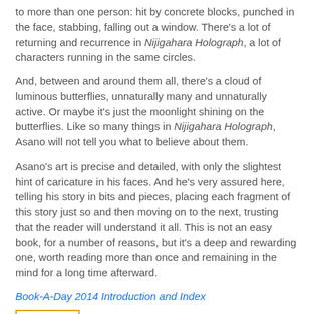to more than one person: hit by concrete blocks, punched in the face, stabbing, falling out a window. There's a lot of returning and recurrence in Nijigahara Holograph, a lot of characters running in the same circles.
And, between and around them all, there's a cloud of luminous butterflies, unnaturally many and unnaturally active. Or maybe it's just the moonlight shining on the butterflies. Like so many things in Nijigahara Holograph, Asano will not tell you what to believe about them.
Asano's art is precise and detailed, with only the slightest hint of caricature in his faces. And he's very assured here, telling his story in bits and pieces, placing each fragment of this story just so and then moving on to the next, trusting that the reader will understand it all. This is not an easy book, for a number of reasons, but it's a deep and rewarding one, worth reading more than once and remaining in the mind for a long time afterward.
Book-A-Day 2014 Introduction and Index
[Figure (logo): Amazon logo with orange arrow underneath inside an orange bordered box]